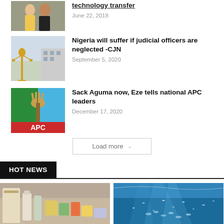[Figure (photo): Two people standing together (partially visible at top)]
technology transfer
June 22, 2018
[Figure (photo): Lady Justice golden statue outside a courthouse]
Nigeria will suffer if judicial officers are neglected -CJN
September 5, 2020
[Figure (photo): APC logo - Nigerian political party flag with green, white, blue and red colors and a broom symbol]
Sack Aguma now, Eze tells national APC leaders
December 17, 2020
Load more
HOT NEWS
[Figure (photo): Food items and supplies on a surface]
[Figure (photo): Underwater ocean scene with sunlight filtering through water and fish]